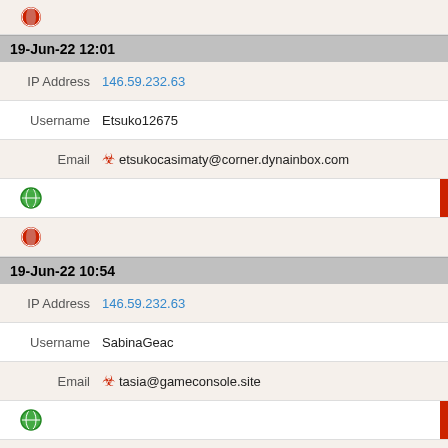[Figure (other): Opera browser icon at top]
19-Jun-22 12:01
IP Address  146.59.232.63
Username  Etsuko12675
Email  etsukocasimaty@corner.dynainbox.com
[Figure (other): Globe icon with red bar]
[Figure (other): Opera browser icon]
19-Jun-22 10:54
IP Address  146.59.232.63
Username  SabinaGeac
Email  tasia@gameconsole.site
[Figure (other): Globe icon with red bar]
[Figure (other): Opera browser icon]
19-Jun-22 10:24
IP Address  146.59.232.63
Username  FF
Email  clemmie_labarre@kaya91.browndecorationlights.com
[Figure (other): Globe icon with red bar]